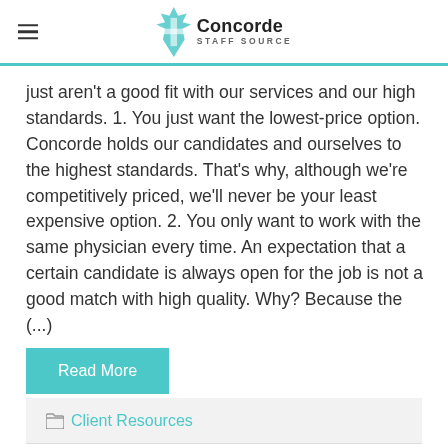Concorde Staff Source
just aren't a good fit with our services and our high standards. 1. You just want the lowest-price option. Concorde holds our candidates and ourselves to the highest standards. That's why, although we're competitively priced, we'll never be your least expensive option. 2. You only want to work with the same physician every time. An expectation that a certain candidate is always open for the job is not a good match with high quality. Why? Because the (...)
Read More
Client Resources